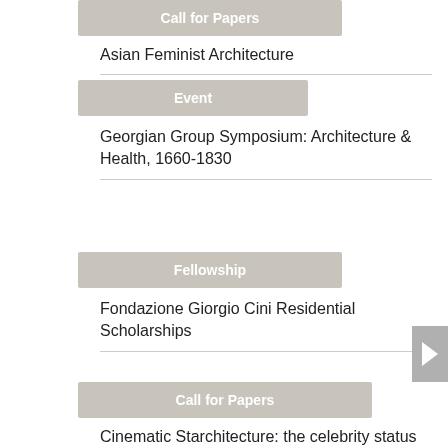Call for Papers
Asian Feminist Architecture
Event
Georgian Group Symposium: Architecture & Health, 1660-1830
Fellowship
Fondazione Giorgio Cini Residential Scholarships
Call for Papers
Cinematic Starchitecture: the celebrity status of architectural structures in film